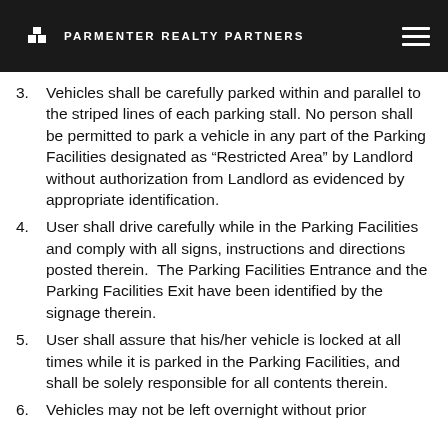PARMENTER REALTY PARTNERS
3. Vehicles shall be carefully parked within and parallel to the striped lines of each parking stall. No person shall be permitted to park a vehicle in any part of the Parking Facilities designated as “Restricted Area” by Landlord without authorization from Landlord as evidenced by appropriate identification.
4. User shall drive carefully while in the Parking Facilities and comply with all signs, instructions and directions posted therein.  The Parking Facilities Entrance and the Parking Facilities Exit have been identified by the signage therein.
5. User shall assure that his/her vehicle is locked at all times while it is parked in the Parking Facilities, and shall be solely responsible for all contents therein.
6. Vehicles may not be left overnight without prior